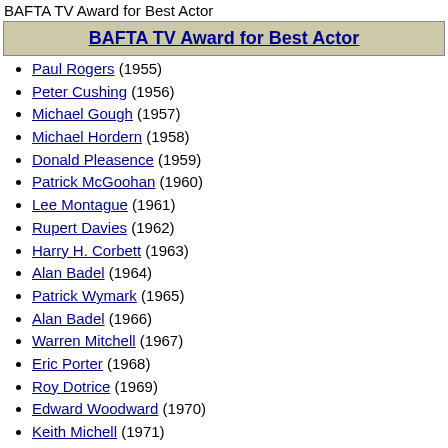BAFTA TV Award for Best Actor
BAFTA TV Award for Best Actor
Paul Rogers (1955)
Peter Cushing (1956)
Michael Gough (1957)
Michael Hordern (1958)
Donald Pleasence (1959)
Patrick McGoohan (1960)
Lee Montague (1961)
Rupert Davies (1962)
Harry H. Corbett (1963)
Alan Badel (1964)
Patrick Wymark (1965)
Alan Badel (1966)
Warren Mitchell (1967)
Eric Porter (1968)
Roy Dotrice (1969)
Edward Woodward (1970)
Keith Michell (1971)
John Le Mesurier (1972)
Anthony Hopkins (1973)
Frank Finlay (1974)
Peter Barkworth (1975)
John Hurt (1976)
Derek Jacobi (1977)